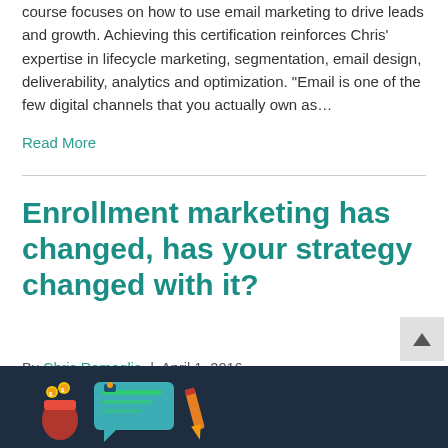course focuses on how to use email marketing to drive leads and growth. Achieving this certification reinforces Chris' expertise in lifecycle marketing, segmentation, email design, deliverability, analytics and optimization. “Email is one of the few digital channels that you actually own as…
Read More
Enrollment marketing has changed, has your strategy changed with it?
By Chris Ramaglia | April 1, 2016
[Figure (illustration): Dark navy background with colorful marketing illustration showing a gift box with coins, a chat bubble with a presentation screen, and a pencil/pen icon]